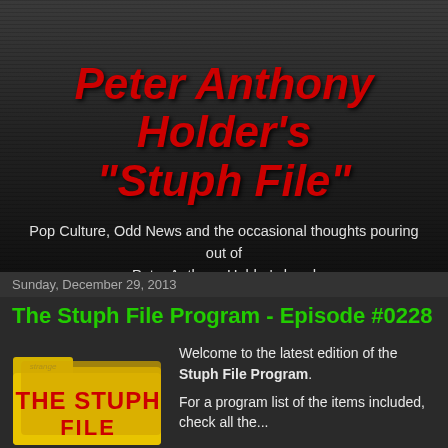Peter Anthony Holder's "Stuph File"
Pop Culture, Odd News and the occasional thoughts pouring out of Peter Anthony Holder's head plus The Stuph File Radio Program
Sunday, December 29, 2013
The Stuph File Program - Episode #0228
[Figure (logo): The Stuph File folder logo with text THE STUPH FILE and strange label on folder tab]
Welcome to the latest edition of the Stuph File Program. For a program list of the items included, check all the...